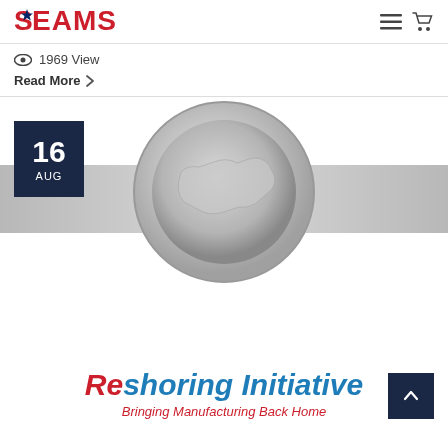SEAMS
1969 View
Read More >
16 AUG
[Figure (logo): Reshoring Initiative logo — metallic circular globe/map graphic with text 'Reshoring Initiative' (Re in red, shoring Initiative in blue, bold italic) and subtitle 'Bringing Manufacturing Back Home' in red italic]